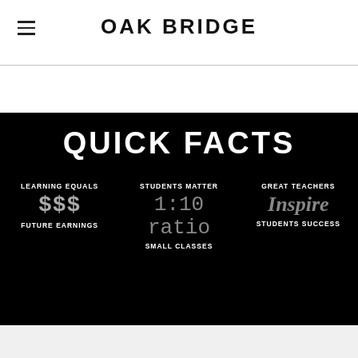OAK BRIDGE
QUICK FACTS
LEARNING EQUALS
$$$
FUTURE EARNINGS
STUDENTS MATTER
1:10 ratio
SMALL CLASSES
GREAT TEACHERS
Inspire
STUDENTS SUCCESS